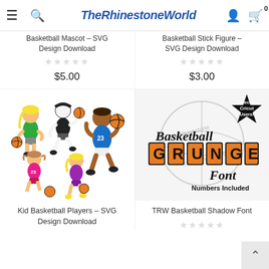TheRhinestoneWorld
Basketball Mascot - SVG Design Download
Basketball Stick Figure - SVG Design Download
$5.00
$3.00
[Figure (illustration): Kid basketball players cartoon SVG - multiple cartoon children playing basketball with a 'Sold Separately' blue banner at bottom]
[Figure (illustration): TRW Basketball Shadow Font product image with 'Perfect for Cricut Users!' starburst badge and Numbers Included text]
Kid Basketball Players - SVG Design Download
TRW Basketball Shadow Font